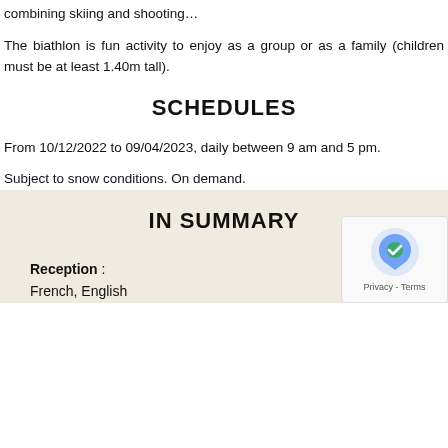combining skiing and shooting…
The biathlon is fun activity to enjoy as a group or as a family (children must be at least 1.40m tall).
SCHEDULES
From 10/12/2022 to 09/04/2023, daily between 9 am and 5 pm.
Subject to snow conditions. On demand.
IN SUMMARY
Reception : French, English